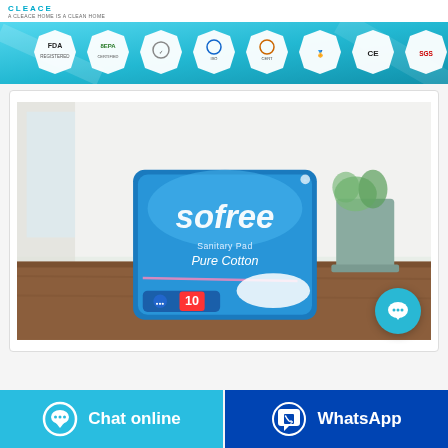CLEACE | A CLEACE HOME IS A CLEAN HOME
[Figure (infographic): Blue gradient certification banner showing FDA, EPA, and other quality certification badge icons (FDA, 8EPA, CE, SGS, and others) arranged horizontally on a teal/aqua background]
[Figure (photo): Product photo of 'sofree Sanitary Pad Pure Cotton' blue package containing 10 pads, placed on a wooden surface with a light bathroom background including a basket]
Chat online
WhatsApp